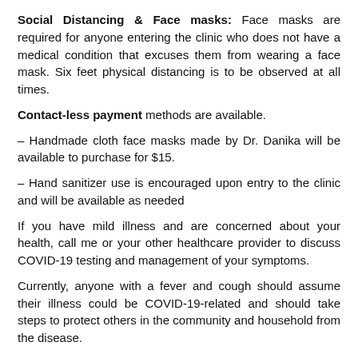Social Distancing & Face masks: Face masks are required for anyone entering the clinic who does not have a medical condition that excuses them from wearing a face mask. Six feet physical distancing is to be observed at all times.
Contact-less payment methods are available.
– Handmade cloth face masks made by Dr. Danika will be available to purchase for $15.
– Hand sanitizer use is encouraged upon entry to the clinic and will be available as needed
If you have mild illness and are concerned about your health, call me or your other healthcare provider to discuss COVID-19 testing and management of your symptoms.
Currently, anyone with a fever and cough should assume their illness could be COVID-19-related and should take steps to protect others in the community and household from the disease.
These safety and additional information for our patients and our community...